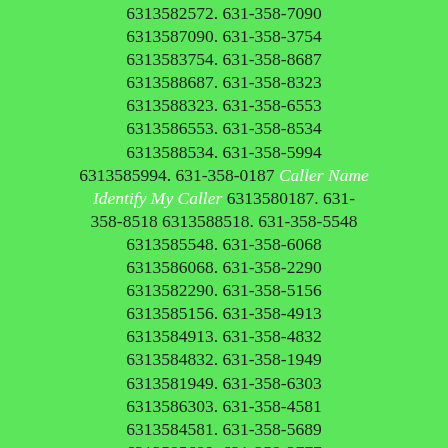6313582572. 631-358-7090 6313587090. 631-358-3754 6313583754. 631-358-8687 6313588687. 631-358-8323 6313588323. 631-358-6553 6313586553. 631-358-8534 6313588534. 631-358-5994 6313585994. 631-358-0187 Caller Name Identify My Caller 6313580187. 631-358-8518 6313588518. 631-358-5548 6313585548. 631-358-6068 6313586068. 631-358-2290 6313582290. 631-358-5156 6313585156. 631-358-4913 6313584913. 631-358-4832 6313584832. 631-358-1949 6313581949. 631-358-6303 6313586303. 631-358-4581 6313584581. 631-358-5689 6313585689. 631-358-2777 6313582777. 631-358-9198 6313589198. 631-358-8896 6313588896. 631-358-8306 6313588306. 631-358-6545 6313586545. 631-358-2522